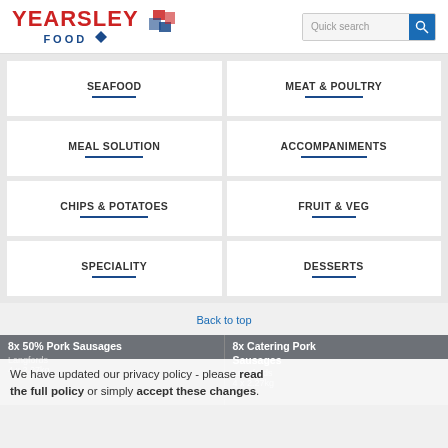[Figure (logo): Yearsley Food logo with red text and blue diamond icon]
Quick search
SEAFOOD
MEAT & POULTRY
MEAL SOLUTION
ACCOMPANIMENTS
CHIPS & POTATOES
FRUIT & VEG
SPECIALITY
DESSERTS
Back to top
8x 50% Pork Sausages
Langfords
4 x 2.27kg
8x Catering Pork Sausages
Langfords
4 x 2.27kg
We have updated our privacy policy - please read the full policy or simply accept these changes.